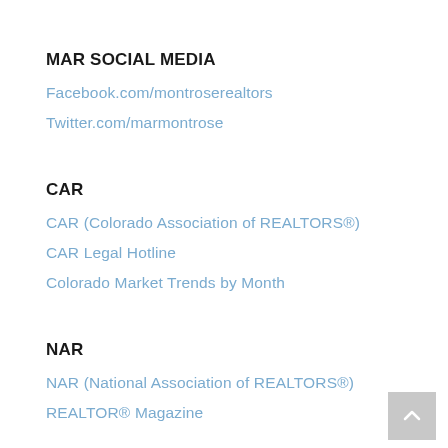MAR SOCIAL MEDIA
Facebook.com/montroserealtors
Twitter.com/marmontrose
CAR
CAR (Colorado Association of REALTORS®)
CAR Legal Hotline
Colorado Market Trends by Month
NAR
NAR (National Association of REALTORS®)
REALTOR® Magazine